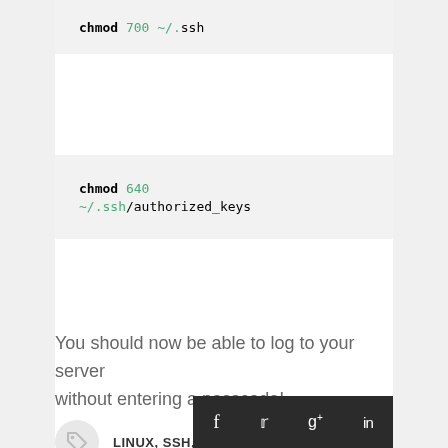chmod 700 ~/.ssh
chmod 640 ~/.ssh/authorized_keys
You should now be able to log to your server without entering a passcode!
LINUX, SSH, UBUNTU